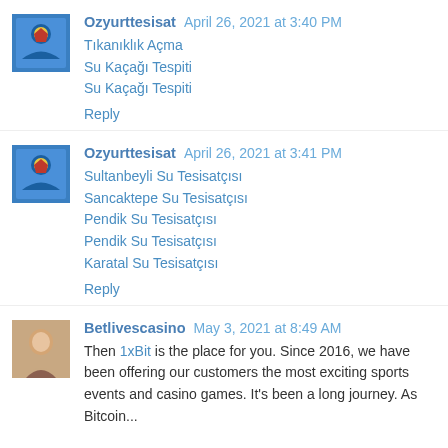[Figure (photo): Blue avatar icon with shield/emblem for Ozyurttesisat]
Ozyurttesisat April 26, 2021 at 3:40 PM
Tıkanıklık Açma
Su Kaçağı Tespiti
Su Kaçağı Tespiti
Reply
[Figure (photo): Blue avatar icon with shield/emblem for Ozyurttesisat]
Ozyurttesisat April 26, 2021 at 3:41 PM
Sultanbeyli Su Tesisatçısı
Sancaktepe Su Tesisatçısı
Pendik Su Tesisatçısı
Pendik Su Tesisatçısı
Karatal Su Tesisatçısı
Reply
[Figure (photo): Avatar photo of a person for Betlivescasino]
Betlivescasino May 3, 2021 at 8:49 AM
Then 1xBit is the place for you. Since 2016, we have been offering our customers the most exciting sports events and casino games. It's been a long journey. As Bitcoin...